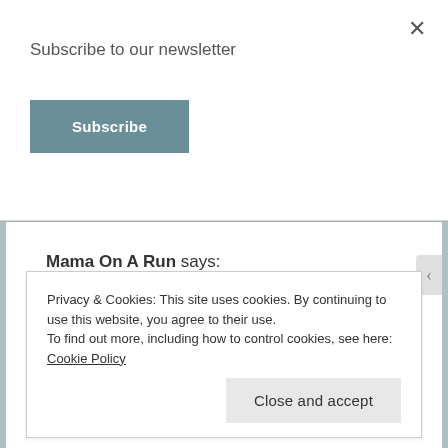Subscribe to our newsletter
Subscribe
×
Mama On A Run says:
March 20, 2019 at 5:08 am
Favorite city is West Palm Beach, FL!
★ Like
Privacy & Cookies: This site uses cookies. By continuing to use this website, you agree to their use.
To find out more, including how to control cookies, see here: Cookie Policy
Close and accept